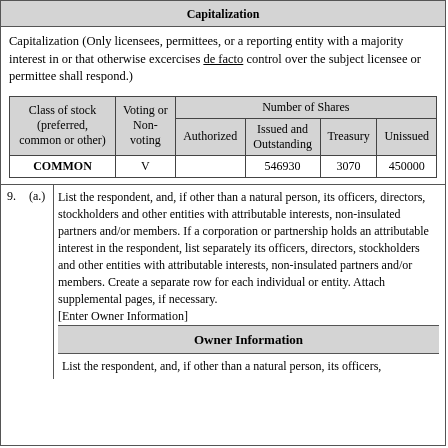Capitalization
Capitalization (Only licensees, permittees, or a reporting entity with a majority interest in or that otherwise excercises de facto control over the subject licensee or permittee shall respond.)
| Class of stock (preferred, common or other) | Voting or Non-voting | Authorized | Issued and Outstanding | Treasury | Unissued |
| --- | --- | --- | --- | --- | --- |
| COMMON | V |  | 546930 | 3070 | 450000 |
9. (a.) List the respondent, and, if other than a natural person, its officers, directors, stockholders and other entities with attributable interests, non-insulated partners and/or members. If a corporation or partnership holds an attributable interest in the respondent, list separately its officers, directors, stockholders and other entities with attributable interests, non-insulated partners and/or members. Create a separate row for each individual or entity. Attach supplemental pages, if necessary.
[Enter Owner Information]
Owner Information
List the respondent, and, if other than a natural person, its officers,